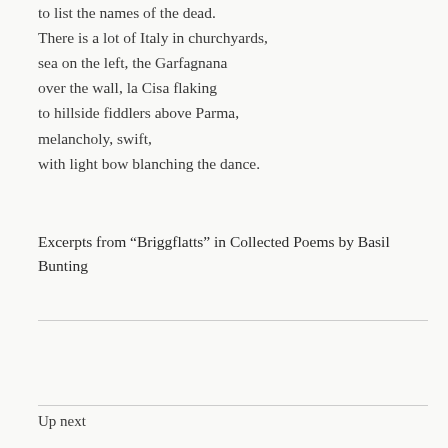to list the names of the dead.
There is a lot of Italy in churchyards,
sea on the left, the Garfagnana
over the wall, la Cisa flaking
to hillside fiddlers above Parma,
melancholy, swift,
with light bow blanching the dance.
Excerpts from “Briggflatts” in Collected Poems by Basil Bunting
Up next